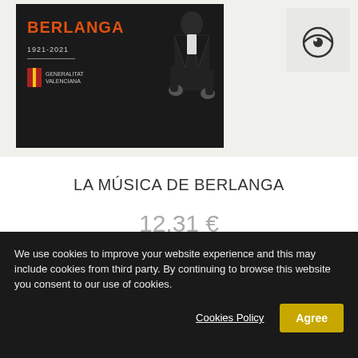[Figure (photo): Product image showing 'LA MÚSICA DE BERLANGA' album/book cover with dark background, figure silhouette, Berlanga text in orange, and Generalitat Valenciana logo. An eye icon is visible in the top right corner of the image region.]
LA MÚSICA DE BERLANGA
12,31 €
Add to cart
More
In Stock
We use cookies to improve your website experience and this may include cookies from third party. By continuing to browse this website you consent to our use of cookies.
Cookies Policy
Agree